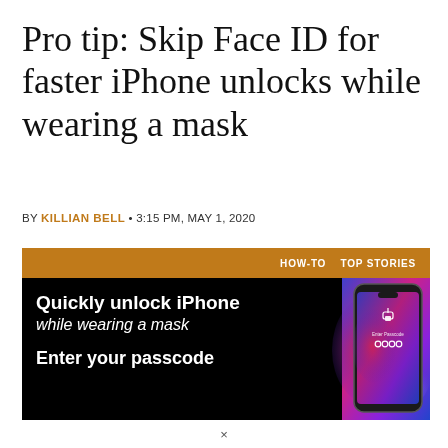Pro tip: Skip Face ID for faster iPhone unlocks while wearing a mask
BY KILLIAN BELL • 3:15 PM, MAY 1, 2020
[Figure (illustration): Promotional image with orange top bar showing HOW-TO and TOP STORIES labels, black background with text 'Quickly unlock iPhone while wearing a mask' and 'Enter your passcode', and an iPhone showing a passcode entry screen on the right side.]